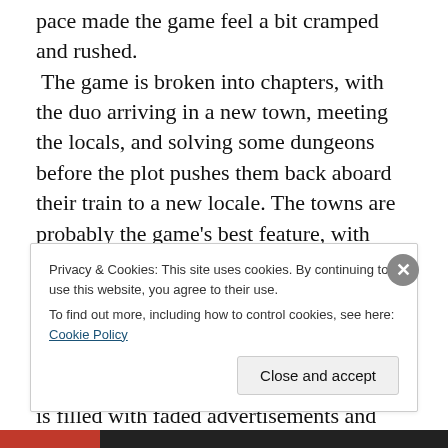pace made the game feel a bit cramped and rushed. The game is broken into chapters, with the duo arriving in a new town, meeting the locals, and solving some dungeons before the plot pushes them back aboard their train to a new locale. The towns are probably the game's best feature, with creatively designed and gorgeously rendered locations like a city built into the side of a dam and a film studio on rails filled with uplifted apes. Each is depicted with HD pixels in loving detail. The world is filled with faded advertisements and overgrown ruins. It is a testament to environmental design. I just wish I got to
Privacy & Cookies: This site uses cookies. By continuing to use this website, you agree to their use.
To find out more, including how to control cookies, see here: Cookie Policy